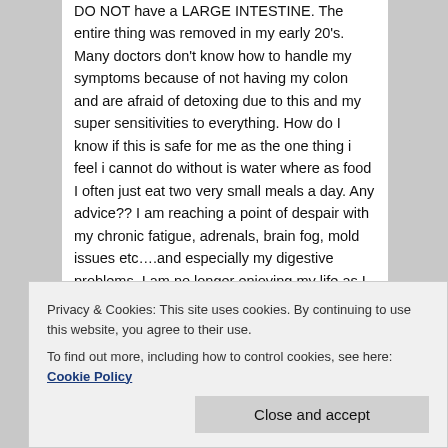DO NOT have a LARGE INTESTINE. The entire thing was removed in my early 20's. Many doctors don't know how to handle my symptoms because of not having my colon and are afraid of detoxing due to this and my super sensitivities to everything. How do I know if this is safe for me as the one thing i feel i cannot do without is water where as food I often just eat two very small meals a day. Any advice?? I am reaching a point of despair with my chronic fatigue, adrenals, brain fog, mold issues etc….and especially my digestive problems. I am no longer enjoying my life as I have been dealing with this for years and trying so many things that don't seem to help especially any kind of supplements etc…I have spent thousands
Privacy & Cookies: This site uses cookies. By continuing to use this website, you agree to their use.
To find out more, including how to control cookies, see here: Cookie Policy